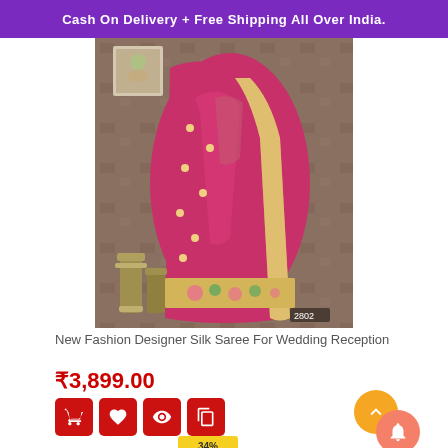Cash On Delivery + Free Shipping All Over India.
[Figure (photo): A woman wearing a pink/magenta embroidered silk saree with gold/cream border, standing against a brown textured backdrop. Image number 2802.]
New Fashion Designer Silk Saree For Wedding Reception
₹3,899.00
[Figure (infographic): Four red square buttons with icons: shopping cart, heart, eye/view, and copy/duplicate. A gold circular up-arrow button and an orange circular notification bell button.]
34%